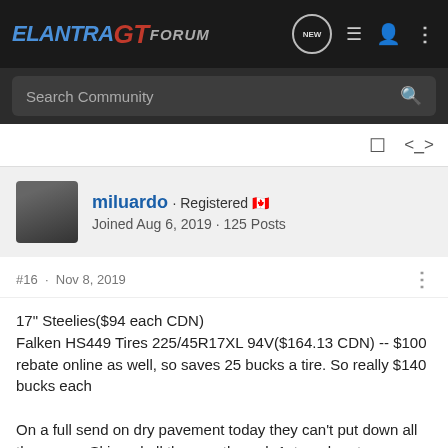ELANTRA GT FORUM
Search Community
miluardo · Registered 🍁
Joined Aug 6, 2019 · 125 Posts
#16 · Nov 8, 2019
17" Steelies($94 each CDN)
Falken HS449 Tires 225/45R17XL 94V($164.13 CDN) -- $100 rebate online as well, so saves 25 bucks a tire. So really $140 bucks each

On a full send on dry pavement today they can't put down all the power. Skipped all the way through 1st, and part way through second.